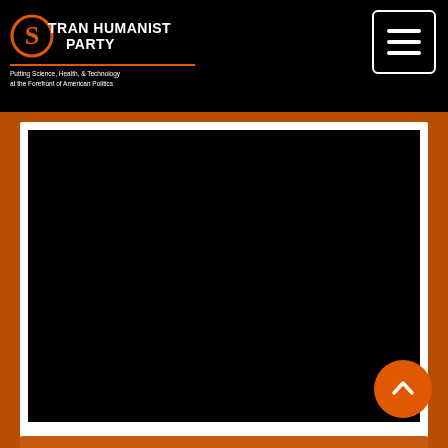[Figure (logo): Transhumanist Party logo with orange circular S symbol, white text reading TRANSHUMANIST PARTY, orange underline, and tagline: Putting Science, Health, & Technology at the Forefront of American Politics]
[Figure (screenshot): Navigation hamburger menu button (three horizontal lines) in a white-bordered rounded rectangle on black background]
[Figure (screenshot): Embedded video player area shown as black rectangle inside a white card on orange-brown background]
[Figure (other): Orange circular scroll-to-top button with white upward chevron arrow in bottom right area]
[Figure (other): Lower content area showing orange-brown background with partial white card at bottom edge]